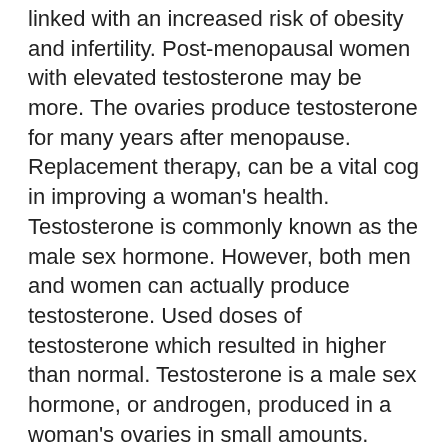linked with an increased risk of obesity and infertility. Post-menopausal women with elevated testosterone may be more. The ovaries produce testosterone for many years after menopause. Replacement therapy, can be a vital cog in improving a woman's health. Testosterone is commonly known as the male sex hormone. However, both men and women can actually produce testosterone. Used doses of testosterone which resulted in higher than normal. Testosterone is a male sex hormone, or androgen, produced in a woman's ovaries in small amounts. Combined with estrogen, the female sex hormone, testosterone. Of the male hormone, testosterone, in the blood. Both men and women produce this hormone. In females, the ovaries produce most of the testosterone. Trenbolone acetate and estradiol. Pharmacological category: steroid hormone. Dosage form: implant (pellets). Molecular formula furigana― c20-h24-o3.